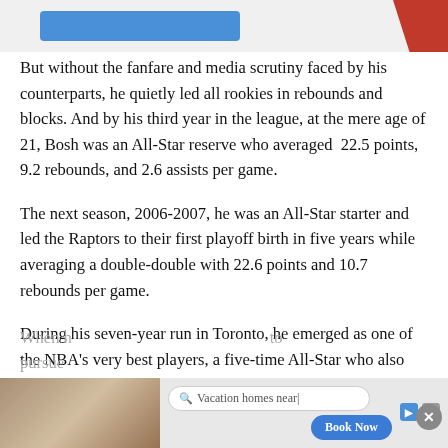[Figure (photo): Top banner area with a blue button on the left and a partial red/person image on the right]
But without the fanfare and media scrutiny faced by his counterparts, he quietly led all rookies in rebounds and blocks. And by his third year in the league, at the mere age of 21, Bosh was an All-Star reserve who averaged 22.5 points, 9.2 rebounds, and 2.6 assists per game.
The next season, 2006-2007, he was an All-Star starter and led the Raptors to their first playoff birth in five years while averaging a double-double with 22.6 points and 10.7 rebounds per game.
During his seven-year run in Toronto, he emerged as one of the NBA's very best players, a five-time All-Star who also won a Gold Medal with Team USA at the 2008 Beijing Olympics.
When ... to pursue...
[Figure (screenshot): Advertisement banner at the bottom: vacation homes search ad with 'Book Now' button and close controls]